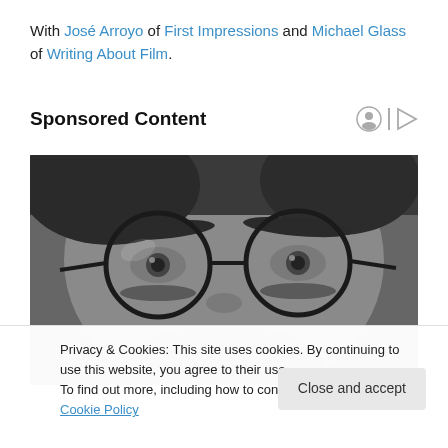With José Arroyo of First Impressions and Michael Glass of Writing About Film.
Sponsored Content
[Figure (photo): Close-up black and white photo of a person wearing round glasses, showing the upper face and eyes.]
Privacy & Cookies: This site uses cookies. By continuing to use this website, you agree to their use.
To find out more, including how to control cookies, see here: Cookie Policy
Close and accept